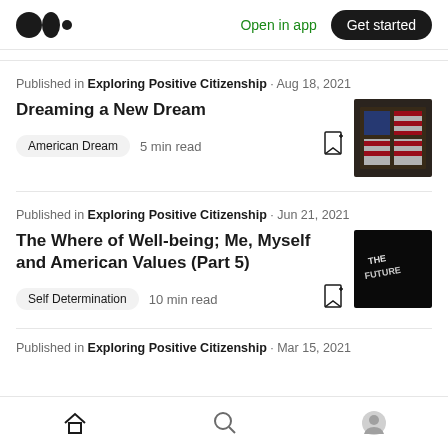Medium logo | Open in app | Get started
Published in Exploring Positive Citizenship · Aug 18, 2021
Dreaming a New Dream
American Dream   5 min read
[Figure (photo): American flag visible through a weathered window]
Published in Exploring Positive Citizenship · Jun 21, 2021
The Where of Well-being; Me, Myself and American Values (Part 5)
Self Determination   10 min read
[Figure (photo): Dark image with white text/neon sign]
Published in Exploring Positive Citizenship · Mar 15, 2021